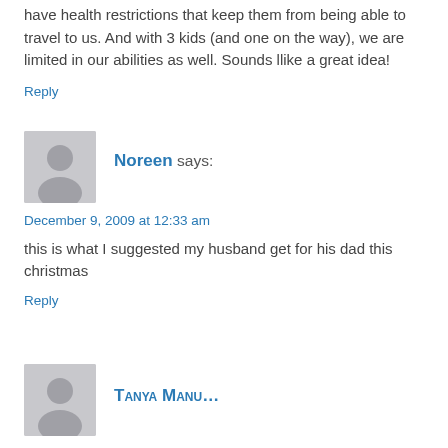have health restrictions that keep them from being able to travel to us. And with 3 kids (and one on the way), we are limited in our abilities as well. Sounds llike a great idea!
Reply
Noreen says:
December 9, 2009 at 12:33 am
this is what I suggested my husband get for his dad this christmas
Reply
[Figure (illustration): Avatar placeholder icon for commenter Noreen]
[Figure (illustration): Avatar placeholder icon for next commenter (partially visible)]
Tanya Manu...